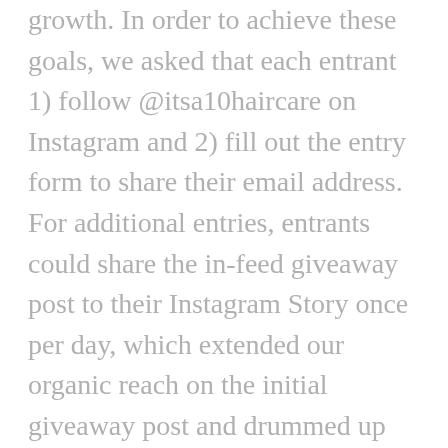growth. In order to achieve these goals, we asked that each entrant 1) follow @itsa10haircare on Instagram and 2) fill out the entry form to share their email address. For additional entries, entrants could share the in-feed giveaway post to their Instagram Story once per day, which extended our organic reach on the initial giveaway post and drummed up more excitement throughout the giveaway period.
To increase entries, we executed two paid campaigns with the objectives of 1) engagement and 2) lead generation, which concluded with an average cost